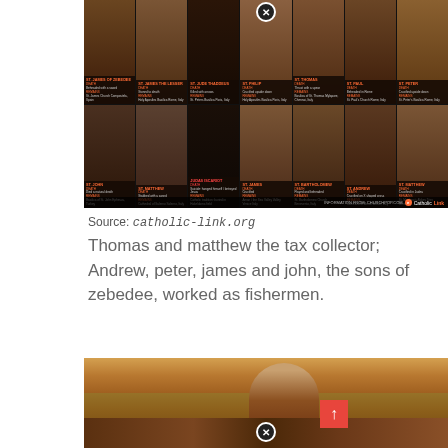[Figure (infographic): Infographic showing the 12 Apostles in a grid layout with their names, death methods, and burial sites. Shows portraits of apostles in two rows: James of Zebedee, James the Lesser, Jude Thaddeus, Philip, Thomas, Paul, Peter (top row) and John, Matthew, Judas Iscariot, James, Bartholomew, Andrew, Matthew (bottom row). Branded with Catholic Link logo. Background overlay with close button (X).]
Source: catholic-link.org
Thomas and matthew the tax collector; Andrew, peter, james and john, the sons of zebedee, worked as fishermen.
[Figure (illustration): Religious painting of a figure (Jesus or a prophet) with arms raised, standing among a crowd, with desert mountains in the background. Red background scroll-to-top button visible. Close/dismiss button at bottom.]